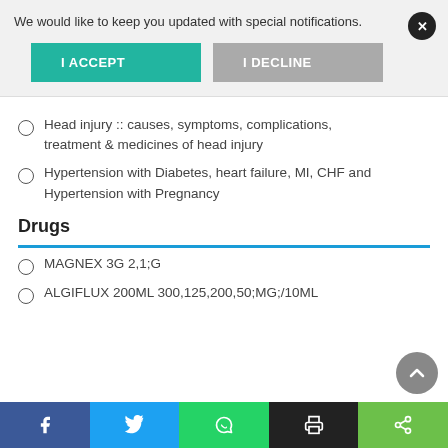We would like to keep you updated with special notifications.
I ACCEPT
I DECLINE
Head injury :: causes, symptoms, complications, treatment & medicines of head injury
Hypertension with Diabetes, heart failure, MI, CHF and Hypertension with Pregnancy
Drugs
MAGNEX 3G 2,1;G
ALGIFLUX 200ML 300,125,200,50;MG;/10ML
f  Twitter  WhatsApp  Print  Share